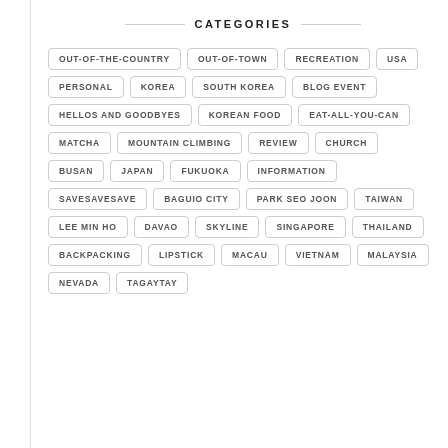CATEGORIES
OUT-OF-THE-COUNTRY
OUT-OF-TOWN
RECREATION
USA
PERSONAL
KOREA
SOUTH KOREA
BLOG EVENT
HELLOS AND GOODBYES
KOREAN FOOD
EAT-ALL-YOU-CAN
MATCHA
MOUNTAIN CLIMBING
REVIEW
CHURCH
BUSAN
JAPAN
FUKUOKA
INFORMATION
SAVESAVESAVE
BAGUIO CITY
PARK SEO JOON
TAIWAN
LEE MIN HO
DAVAO
SKYLINE
SINGAPORE
THAILAND
BACKPACKING
LIPSTICK
MACAU
VIETNAM
MALAYSIA
NEVADA
TAGAYTAY